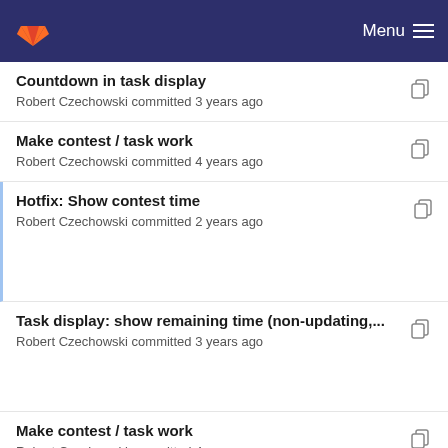GitLab — Menu
Countdown in task display
Robert Czechowski committed 3 years ago
Make contest / task work
Robert Czechowski committed 4 years ago
Hotfix: Show contest time
Robert Czechowski committed 2 years ago
Task display: show remaining time (non-updating,...
Robert Czechowski committed 3 years ago
Make contest / task work
Robert Czechowski committed 4 years ago
Add iron as web framework
Robert Czechowski committed 4 years ago